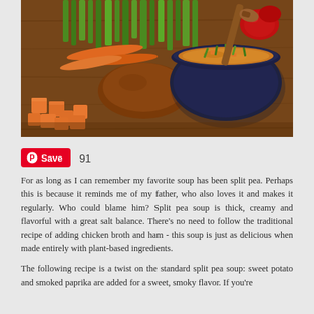[Figure (photo): Photo of a bowl of soup (split pea with sweet potato) garnished with green onions, with a wooden spoon, surrounded by sweet potatoes, carrots, green onions, and red peppers on a wooden cutting board.]
Save  91
For as long as I can remember my favorite soup has been split pea. Perhaps this is because it reminds me of my father, who also loves it and makes it regularly. Who could blame him? Split pea soup is thick, creamy and flavorful with a great salt balance. There's no need to follow the traditional recipe of adding chicken broth and ham - this soup is just as delicious when made entirely with plant-based ingredients.
The following recipe is a twist on the standard split pea soup: sweet potato and smoked paprika are added for a sweet, smoky flavor. If you're